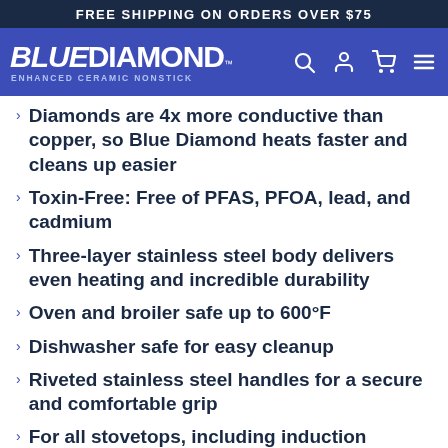FREE SHIPPING ON ORDERS OVER $75
[Figure (logo): Blue Diamond Enhanced Ceramic Nonstick logo with navigation icons (search, user, cart, menu) on blue background]
Diamonds are 4x more conductive than copper, so Blue Diamond heats faster and cleans up easier
Toxin-Free: Free of PFAS, PFOA, lead, and cadmium
Three-layer stainless steel body delivers even heating and incredible durability
Oven and broiler safe up to 600°F
Dishwasher safe for easy cleanup
Riveted stainless steel handles for a secure and comfortable grip
For all stovetops, including induction